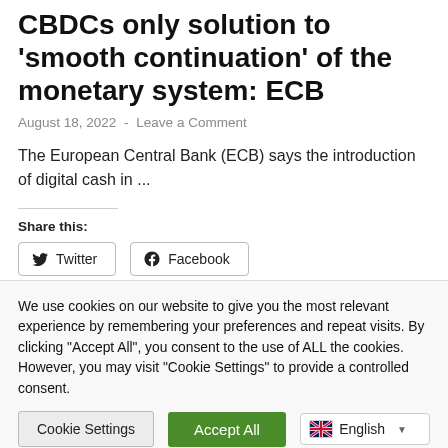CBDCs only solution to 'smooth continuation' of the monetary system: ECB
August 18, 2022  -  Leave a Comment
The European Central Bank (ECB) says the introduction of digital cash in ...
Share this:
Twitter  Facebook
We use cookies on our website to give you the most relevant experience by remembering your preferences and repeat visits. By clicking "Accept All", you consent to the use of ALL the cookies. However, you may visit "Cookie Settings" to provide a controlled consent.
Cookie Settings  Accept All  English